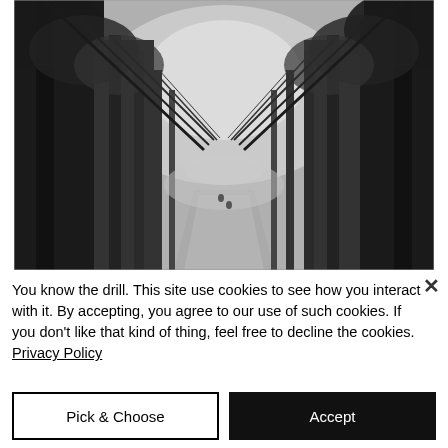[Figure (photo): Black and white photograph of a tree-lined path or avenue, bare winter trees forming a canopy tunnel perspective, leading to a misty vanishing point.]
× (close button)
You know the drill. This site use cookies to see how you interact with it. By accepting, you agree to our use of such cookies. If you don't like that kind of thing, feel free to decline the cookies. Privacy Policy